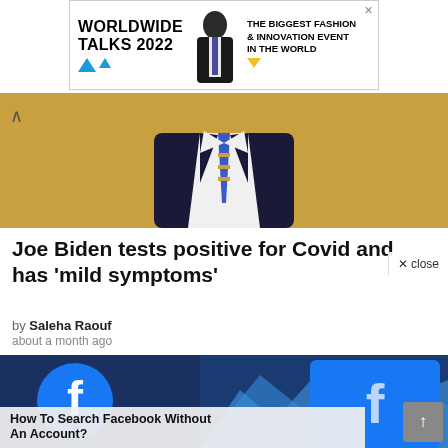[Figure (photo): Advertisement banner: WORLDWIDE TALKS 2022 - THE BIGGEST FASHION & INNOVATION EVENT IN THE WORLD]
[Figure (photo): Photo of a person in a dark navy suit with striped tie and white shirt against a golden background, cropped from chest up]
Joe Biden tests positive for Covid and has 'mild symptoms'
by Saleha Raouf
about a month ago
[Figure (photo): Two Facebook logo screens/devices showing the Facebook 'f' logo on blue backgrounds, with mountain landscape visible]
How To Search Facebook Without An Account?